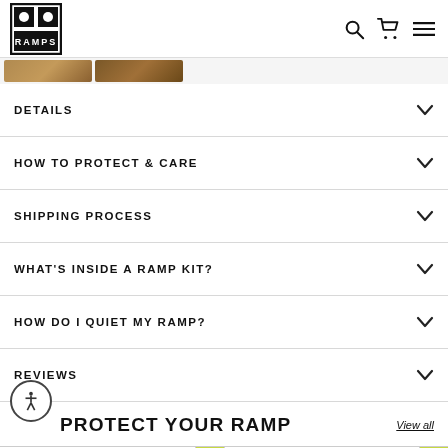OC Ramps — navigation header with logo, search, cart, and menu icons
[Figure (photo): Two small thumbnail product images showing wooden ramp surfaces]
DETAILS
HOW TO PROTECT & CARE
SHIPPING PROCESS
WHAT'S INSIDE A RAMP KIT?
HOW DO I QUIET MY RAMP?
REVIEWS
PROTECT YOUR RAMP
View all